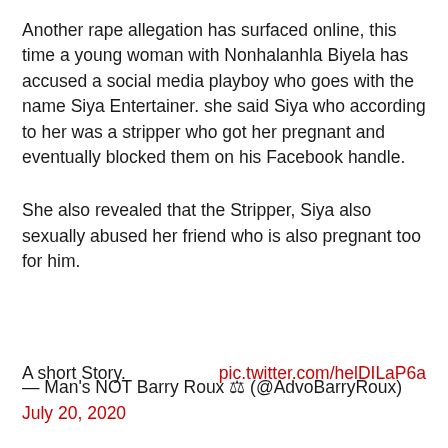Another rape allegation has surfaced online, this time a young woman with Nonhalanhla Biyela has accused a social media playboy who goes with the name Siya Entertainer. she said Siya who according to her was a stripper who got her pregnant and eventually blocked them on his Facebook handle.
She also revealed that the Stripper, Siya also sexually abused her friend who is also pregnant too for him.
A short Story.    pic.twitter.com/helDILaP6a
— Man's NOT Barry Roux ⚖ (@AdvoBarryRoux) July 20, 2020